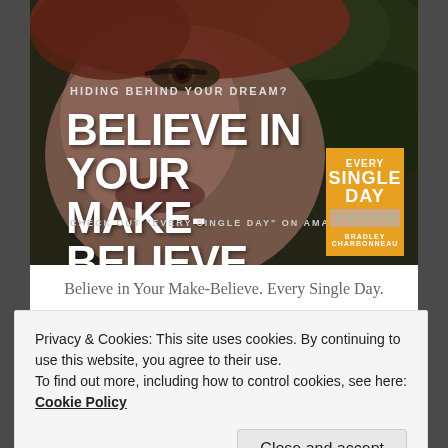[Figure (photo): Book advertisement photo showing a close-up of a woman's face with red hair and dramatic eye makeup, overlaid with text promoting the book 'Every Single Day' by Bradley Charbonneau. Text overlays read: 'HIDING BEHIND YOUR DREAM?', 'BELIEVE IN YOUR MAKE-BELIEVE.', 'CHECK OUT "EVERY SINGLE DAY" ON AMAZON'. A book cover is visible in the lower right corner.]
Believe in Your Make-Believe. Every Single Day.
Privacy & Cookies: This site uses cookies. By continuing to use this website, you agree to their use.
To find out more, including how to control cookies, see here: Cookie Policy
Close and accept